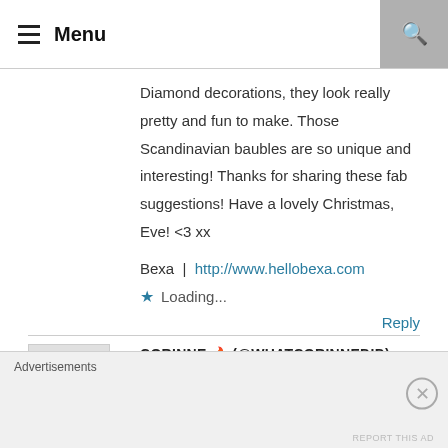Menu
Diamond decorations, they look really pretty and fun to make. Those Scandinavian baubles are so unique and interesting! Thanks for sharing these fab suggestions! Have a lovely Christmas, Eve! <3 xx
Bexa | http://www.hellobexa.com
Loading...
Reply
CORINNE 🔥 (@WHATCORINNEDID)
Advertisements